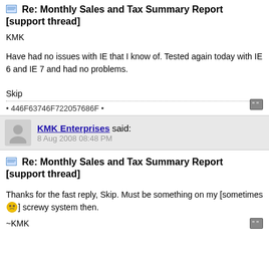Re: Monthly Sales and Tax Summary Report [support thread]
KMK
Have had no issues with IE that I know of. Tested again today with IE 6 and IE 7 and had no problems.
Skip
• 446F63746F722057686F •
KMK Enterprises said: 8 Aug 2008 08:48 PM
Re: Monthly Sales and Tax Summary Report [support thread]
Thanks for the fast reply, Skip. Must be something on my [sometimes 😵] screwy system then.
~KMK